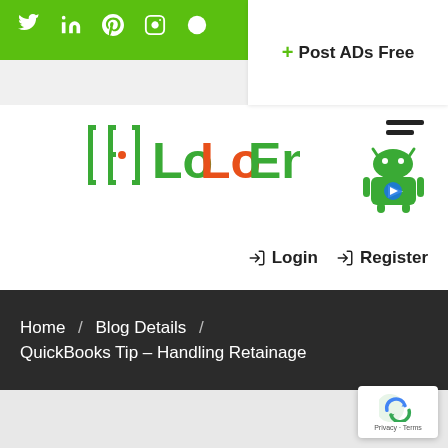Social icons: Twitter, LinkedIn, Pinterest, Instagram, Reddit
+ Post ADs Free
[Figure (logo): LoLoEn logo with stylized bracket and dotted E in orange and green]
[Figure (illustration): Android robot mascot with hamburger menu lines]
Login   Register
Home / Blog Details / QuickBooks Tip – Handling Retainage